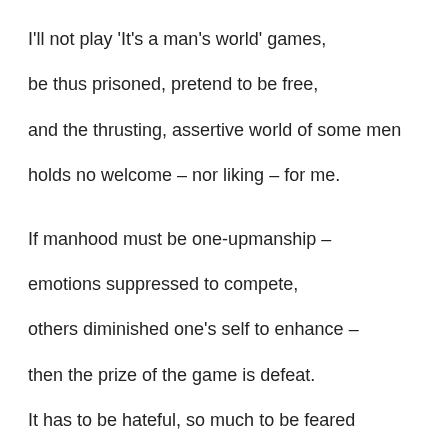I'll not play 'It's a man's world' games,

be thus prisoned, pretend to be free,

and the thrusting, assertive world of some men

holds no welcome – nor liking – for me.


If manhood must be one-upmanship –

emotions suppressed to compete,

others diminished one's self to enhance –

then the prize of the game is defeat.

It has to be hateful, so much to be feared